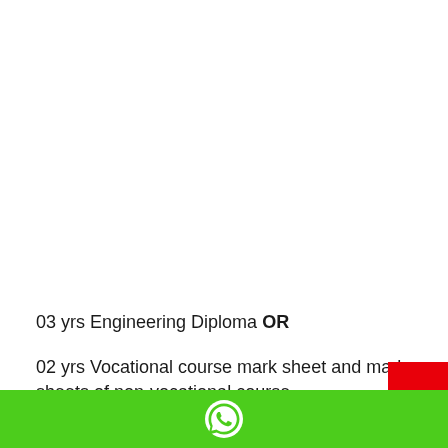03 yrs Engineering Diploma OR
02 yrs Vocational course mark sheet and marks sheets of non-vocational course.
[WhatsApp icon footer bar]